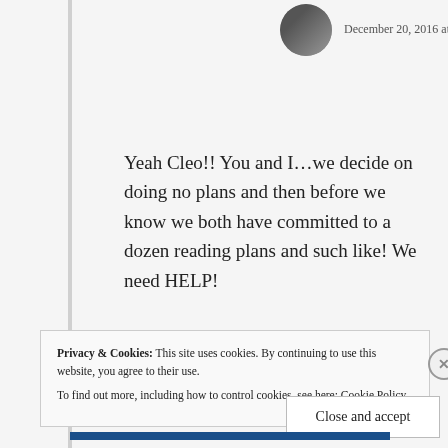December 20, 2016 at 12:51 am
Yeah Cleo!! You and I…we decide on doing no plans and then before we know we both have committed to a dozen reading plans and such like! We need HELP!
↩ Reply
Privacy & Cookies: This site uses cookies. By continuing to use this website, you agree to their use. To find out more, including how to control cookies, see here: Cookie Policy
Close and accept